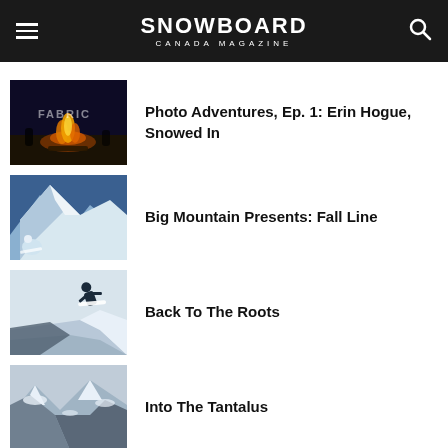SNOWBOARD CANADA MAGAZINE
Photo Adventures, Ep. 1: Erin Hogue, Snowed In
Big Mountain Presents: Fall Line
Back To The Roots
Into The Tantalus